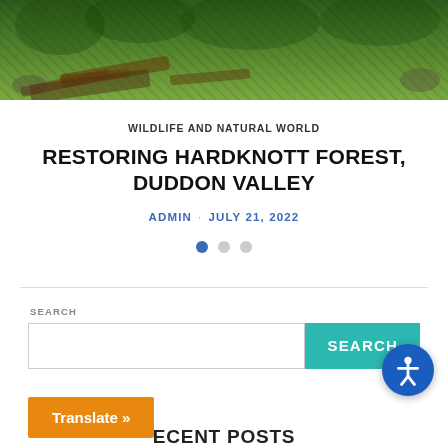[Figure (photo): Forest landscape with fallen logs and dense green vegetation on a hillside]
WILDLIFE AND NATURAL WORLD
RESTORING HARDKNOTT FOREST, DUDDON VALLEY
ADMIN · JULY 21, 2022
[Figure (other): Pagination dots: one blue active dot and two grey inactive dots]
SEARCH
[Figure (screenshot): Search bar with teal SEARCH button]
[Figure (other): Blue circular accessibility icon button]
Translate »
RECENT POSTS